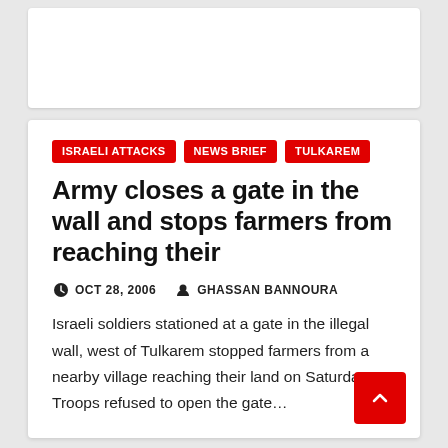ISRAELI ATTACKS  NEWS BRIEF  TULKAREM
Army closes a gate in the wall and stops farmers from reaching their
OCT 28, 2006   GHASSAN BANNOURA
Israeli soldiers stationed at a gate in the illegal wall, west of Tulkarem stopped farmers from a nearby village reaching their land on Saturday. Troops refused to open the gate…